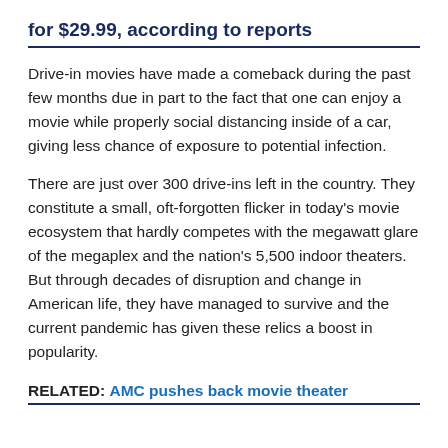for $29.99, according to reports
Drive-in movies have made a comeback during the past few months due in part to the fact that one can enjoy a movie while properly social distancing inside of a car, giving less chance of exposure to potential infection.
There are just over 300 drive-ins left in the country. They constitute a small, oft-forgotten flicker in today’s movie ecosystem that hardly competes with the megawatt glare of the megaplex and the nation’s 5,500 indoor theaters. But through decades of disruption and change in American life, they have managed to survive and the current pandemic has given these relics a boost in popularity.
RELATED: AMC pushes back movie theater